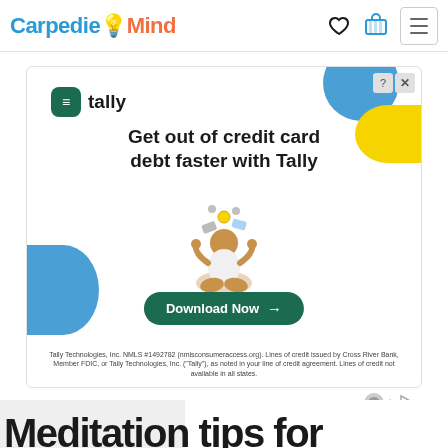CarpdeieMind
[Figure (advertisement): Tally app advertisement: 'Get out of credit card debt faster with Tally' with Download Now button and disclaimer text. Features decorative blue and yellow shapes and illustration of person juggling credit cards.]
[Figure (advertisement): Camp Lejeune advertisement overlay: 'Did you live or serve at Camp Lejeune during...' sponsored by Camp Lejeune Lawsuit Settlement]
Meditation tips for